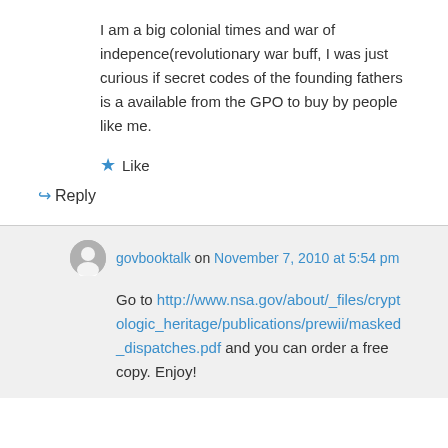I am a big colonial times and war of indepence(revolutionary war buff, I was just curious if secret codes of the founding fathers is a available from the GPO to buy by people like me.
★ Like
↪ Reply
govbooktalk on November 7, 2010 at 5:54 pm
Go to http://www.nsa.gov/about/_files/cryptologic_heritage/publications/prewii/masked_dispatches.pdf and you can order a free copy. Enjoy!